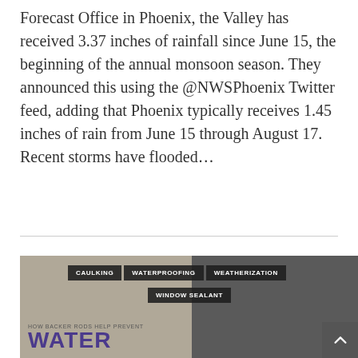Forecast Office in Phoenix, the Valley has received 3.37 inches of rainfall since June 15, the beginning of the annual monsoon season. They announced this using the @NWSPhoenix Twitter feed, adding that Phoenix typically receives 1.45 inches of rain from June 15 through August 17. Recent storms have flooded…
[Figure (other): Article preview card with category tags: CAULKING, WATERPROOFING, WEATHERIZATION, WINDOW SEALANT. Background shows a split image of concrete/building materials. Text reads 'HOW BACKER RODS HELP PREVENT' and large bold purple text 'WATER'. Scroll-to-top button visible in lower right.]